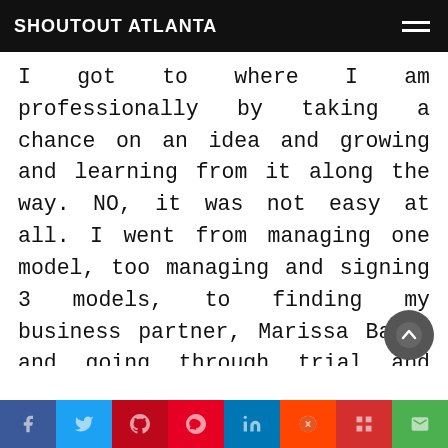SHOUTOUT ATLANTA
I got to where I am professionally by taking a chance on an idea and growing and learning from it along the way. NO, it was not easy at all. I went from managing one model, too managing and signing 3 models, to finding my business partner, Marissa Banks and going through trial and tribulations through it all. I fell flat on my face learning how this industry works for you as well as against you. I've spent money I didn't even have and have failed before to know what I need to do to move forward. I over came challenges and still over coming challenges by making sure the focus, the purpose and why for starting everything in the first place is still in